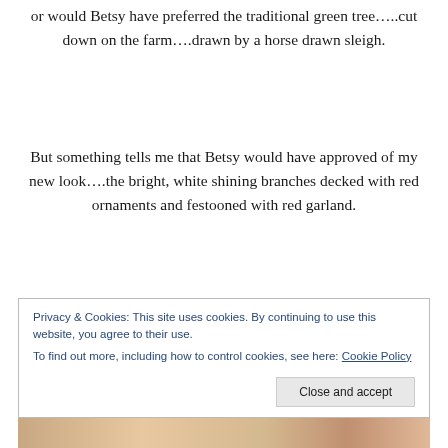or would Betsy have preferred the traditional green tree…..cut down on the farm….drawn by a horse drawn sleigh.
But something tells me that Betsy would have approved of my new look….the bright, white shining branches decked with red ornaments and festooned with red garland.
Privacy & Cookies: This site uses cookies. By continuing to use this website, you agree to their use.
To find out more, including how to control cookies, see here: Cookie Policy
[Close and accept]
[Figure (photo): Bottom strip showing partial view of a photo, appears to be an indoor scene]